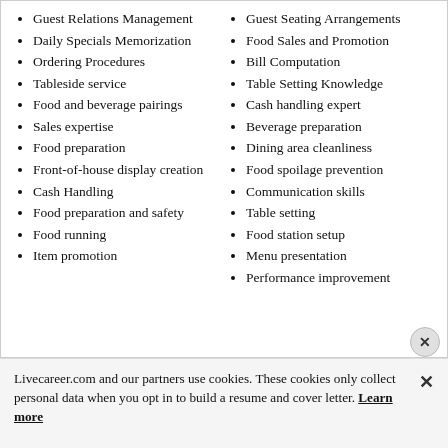Guest Relations Management
Daily Specials Memorization
Ordering Procedures
Tableside service
Food and beverage pairings
Sales expertise
Food preparation
Front-of-house display creation
Cash Handling
Food preparation and safety
Food running
Item promotion
Guest Seating Arrangements
Food Sales and Promotion
Bill Computation
Table Setting Knowledge
Cash handling expert
Beverage preparation
Dining area cleanliness
Food spoilage prevention
Communication skills
Table setting
Food station setup
Menu presentation
Performance improvement
Livecareer.com and our partners use cookies. These cookies only collect personal data when you opt in to build a resume and cover letter. Learn more